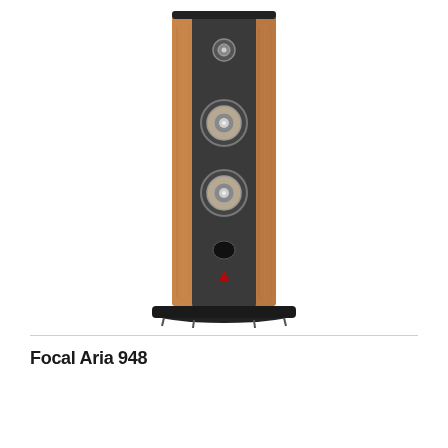[Figure (photo): Focal Aria 948 floorstanding loudspeaker with walnut wood finish side panels, dark grey front baffle, three drivers (one tweeter at top, one midrange, two woofers), a bass reflex port, and a wide black base/plinth.]
Focal Aria 948